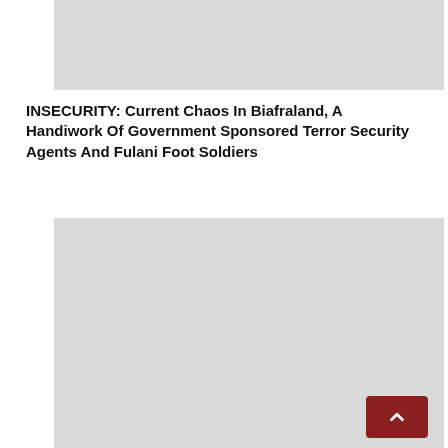[Figure (photo): Image placeholder (gray rectangle) at top of page]
INSECURITY: Current Chaos In Biafraland, A Handiwork Of Government Sponsored Terror Security Agents And Fulani Foot Soldiers
[Figure (photo): Image placeholder (gray rectangle) in middle of page]
Obi meets Afenifere leader, says "Nigeria is no longer in control of her territory"
[Figure (photo): Image placeholder (gray rectangle) at bottom of page]